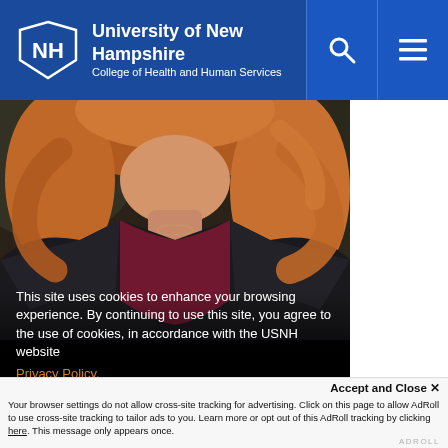University of New Hampshire
College of Health and Human Services
[Figure (photo): Cropped photo of a woman with auburn/red wavy hair wearing a dark blazer over a maroon top, photographed from neck down showing shoulders and chest area against a blurred outdoor background.]
This site uses cookies to enhance your browsing experience. By continuing to use this site, you agree to the use of cookies, in accordance with the USNH website
Privacy Policy.
OK ✓
Accept and Close ✕
Your browser settings do not allow cross-site tracking for advertising. Click on this page to allow AdRoll to use cross-site tracking to tailor ads to you. Learn more or opt out of this AdRoll tracking by clicking here. This message only appears once.